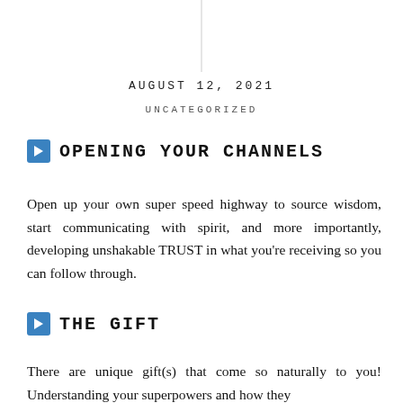AUGUST 12, 2021
UNCATEGORIZED
OPENING YOUR CHANNELS
Open up your own super speed highway to source wisdom, start communicating with spirit, and more importantly, developing unshakable TRUST in what you’re receiving so you can follow through.
THE GIFT
There are unique gift(s) that come so naturally to you! Understanding your superpowers and how they